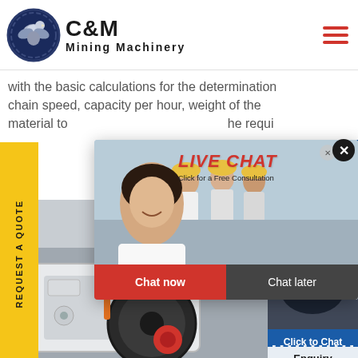[Figure (logo): C&M Mining Machinery logo with eagle emblem in navy circle]
with the basic calculations for the determination chain speed, capacity per hour, weight of the material to he requi
REQUEST A QUOTE
[Figure (infographic): Live Chat popup with workers in hard hats, LIVE CHAT title in red, Click for a Free Consultation, Chat now and Chat later buttons]
[Figure (photo): Blue panel showing Hours and Online text]
[Figure (photo): Customer service agent with headset - Click to Chat widget]
Click to Chat
Enquiry